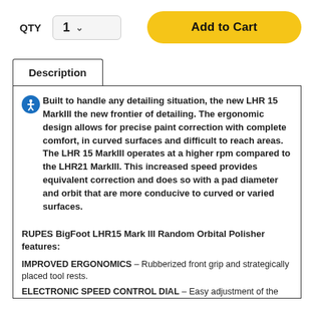QTY  1  ▾   Add to Cart
Description
Built to handle any detailing situation, the new LHR 15 MarkIII the new frontier of detailing. The ergonomic design allows for precise paint correction with complete comfort, in curved surfaces and difficult to reach areas. The LHR 15 MarkIII operates at a higher rpm compared to the LHR21 MarkIII. This increased speed provides equivalent correction and does so with a pad diameter and orbit that are more conducive to curved or varied surfaces.
RUPES BigFoot LHR15 Mark III Random Orbital Polisher features:
IMPROVED ERGONOMICS – Rubberized front grip and strategically placed tool rests.
ELECTRONIC SPEED CONTROL DIAL – Easy adjustment of the